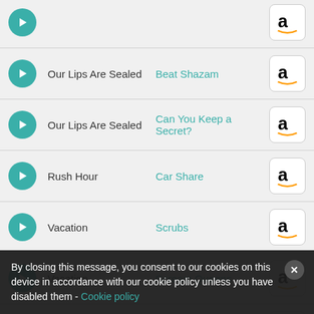Our Lips Are Sealed — Beat Shazam
Our Lips Are Sealed — Can You Keep a Secret?
Rush Hour — Car Share
Vacation — Scrubs
Vacation — Scream Queens
Vacation — Beat Shazam
By closing this message, you consent to our cookies on this device in accordance with our cookie policy unless you have disabled them - Cookie policy